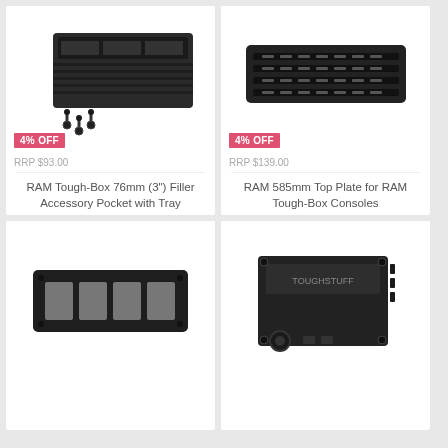[Figure (photo): RAM Tough-Box 76mm filler accessory pocket with tray product photo — black plastic box with screws]
4% OFF
RRP $93.00
RAM Tough-Box 76mm (3") Filler Accessory Pocket with Tray
$88.95
Add to Cart
[Figure (photo): RAM 585mm Top Plate for RAM Tough-Box Consoles product photo — black metal slotted plate]
4% OFF
RRP $139.00
RAM 585mm Top Plate for RAM Tough-Box Consoles
$132.95
Add to Cart
[Figure (photo): Black plastic switch panel with four rectangular cutouts]
[Figure (photo): Black electronic device/module with connectors]